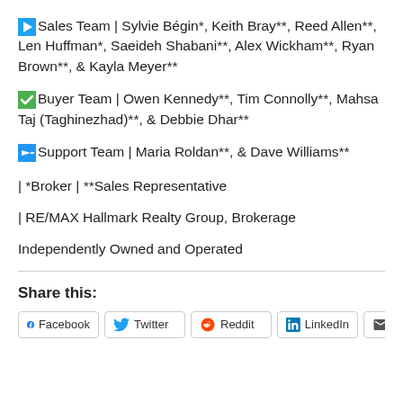▶Sales Team | Sylvie Bégin*, Keith Bray**, Reed Allen**, Len Huffman*, Saeideh Shabani**, Alex Wickham**, Ryan Brown**, & Kayla Meyer**
✅Buyer Team | Owen Kennedy**, Tim Connolly**, Mahsa Taj (Taghinezhad)**, & Debbie Dhar**
➡Support Team | Maria Roldan**, & Dave Williams**
| *Broker | **Sales Representative
| RE/MAX Hallmark Realty Group, Brokerage
Independently Owned and Operated
Share this:
Facebook  Twitter  Reddit  LinkedIn  Email